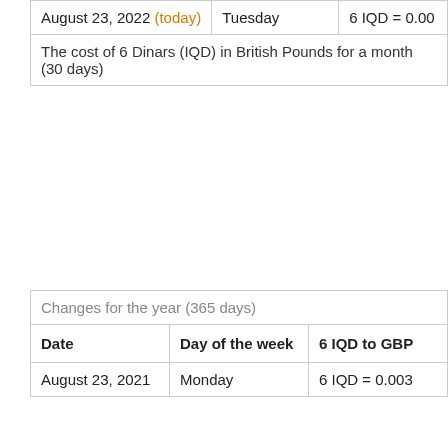| Date | Day of the week | 6 IQD to GBP |
| --- | --- | --- |
| August 23, 2022 (today) | Tuesday | 6 IQD = 0.00... |
The cost of 6 Dinars (IQD) in British Pounds for a month (30 days)
| Date | Day of the week | 6 IQD to GBP |
| --- | --- | --- |
| August 23, 2021 | Monday | 6 IQD = 0.003... |